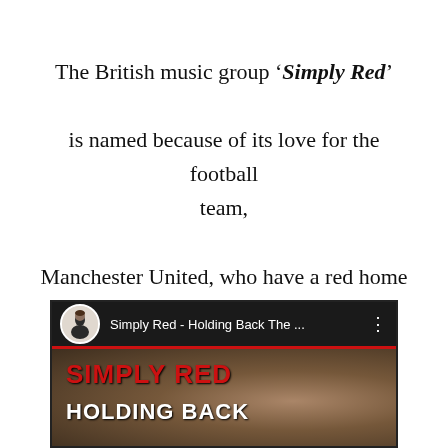The British music group 'Simply Red' is named because of its love for the football team, Manchester United, who have a red home strip.
[Figure (screenshot): A YouTube video thumbnail/player screenshot showing a Simply Red music video. Dark background bar at top shows a circular avatar of a person in black, then text 'Simply Red - Holding Back The ...' with a vertical three-dot menu icon. Below is a red-bordered album art area with white text 'SIMPLY RED' in large bold letters and 'HOLDING BACK' beneath it, with a blurred sepia-toned photographic background.]